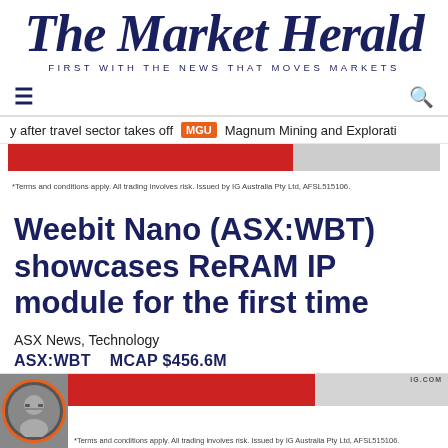The Market Herald — FIRST WITH THE NEWS THAT MOVES MARKETS
y after travel sector takes off  MGU  Magnum Mining and Explorati
*Terms and conditions apply. All trading involves risk. Issued by IG Australia Pty Ltd, AFSL515106.
Weebit Nano (ASX:WBT) showcases ReRAM IP module for the first time
ASX News, Technology
ASX:WBT    MCAP $456.6M
*Terms and conditions apply. All trading involves risk. Issued by IG Australia Pty Ltd, AFSL515106.